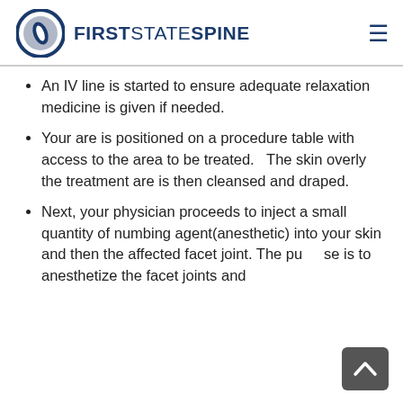First State Spine
An IV line is started to ensure adequate relaxation medicine is given if needed.
Your are is positioned on a procedure table with access to the area to be treated.   The skin overly the treatment are is then cleansed and draped.
Next, your physician proceeds to inject a small quantity of numbing agent(anesthetic) into your skin and then the affected facet joint. The purpose is to anesthetize the facet joints and